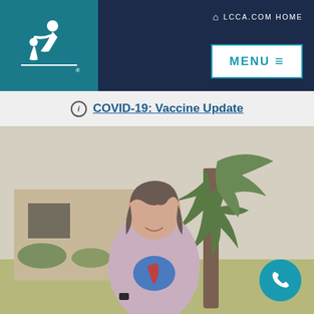[Figure (logo): LCCA logo: white silhouette of caregiver and patient on teal background]
LCCA.COM HOME
MENU ≡
ⓘ COVID-19: Vaccine Update
[Figure (photo): Woman with dark shoulder-length hair wearing a lavender cardigan over a colorful top, arms crossed, standing outside in front of a tree and building on a sunny day]